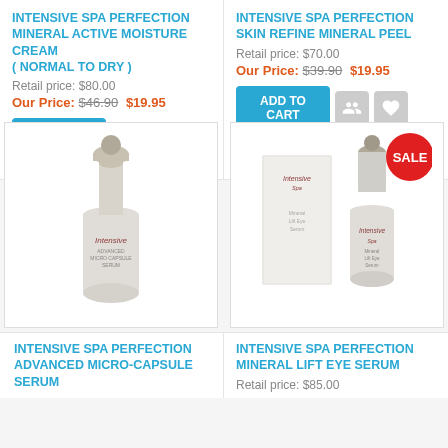INTENSIVE SPA PERFECTION Mineral Active Moisture Cream ( Normal to Dry )
Retail price: $80.00
Our Price: $46.90 $19.95
INTENSIVE SPA PERFECTION Skin Refine Mineral Peel
Retail price: $70.00
Our Price: $39.90 $19.95
[Figure (photo): Intensive Spa Perfection Advanced Micro-Capsule Serum bottle product photo]
[Figure (photo): Intensive Spa Perfection Mineral Lift Eye Serum product photo with box, SALE badge]
INTENSIVE SPA PERFECTION Advanced Micro-Capsule Serum
INTENSIVE SPA PERFECTION Mineral Lift Eye Serum
Retail price: $85.00